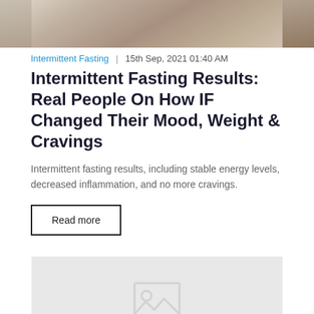[Figure (photo): Top portion of a photo showing a person's hands, partially cropped]
Intermittent Fasting  |  15th Sep, 2021 01:40 AM
Intermittent Fasting Results: Real People On How IF Changed Their Mood, Weight & Cravings
Intermittent fasting results, including stable energy levels, decreased inflammation, and no more cravings.
Read more
[Figure (photo): Image placeholder with a generic image icon on a light gray background]